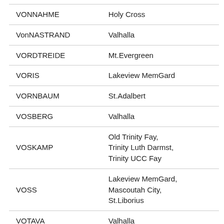| VONNAHME | Holy Cross |
| VonNASTRAND | Valhalla |
| VORDTREIDE | Mt.Evergreen |
| VORIS | Lakeview MemGard |
| VORNBAUM | St.Adalbert |
| VOSBERG | Valhalla |
| VOSKAMP | Old Trinity Fay,
Trinity Luth Darmst,
Trinity UCC Fay |
| VOSS | Lakeview MemGard,
Mascoutah City,
St.Liborius |
| VOTAVA | Valhalla |